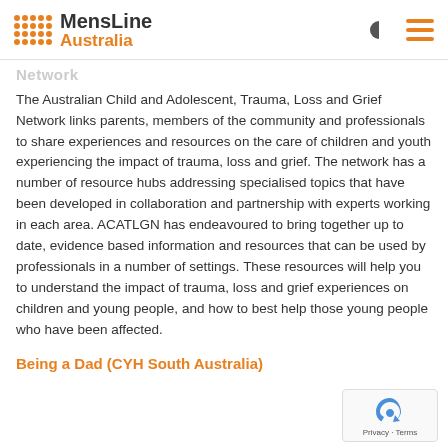MensLine Australia
Network
The Australian Child and Adolescent, Trauma, Loss and Grief Network links parents, members of the community and professionals to share experiences and resources on the care of children and youth experiencing the impact of trauma, loss and grief. The network has a number of resource hubs addressing specialised topics that have been developed in collaboration and partnership with experts working in each area. ACATLGN has endeavoured to bring together up to date, evidence based information and resources that can be used by professionals in a number of settings. These resources will help you to understand the impact of trauma, loss and grief experiences on children and young people, and how to best help those young people who have been affected.
Being a Dad (CYH South Australia)